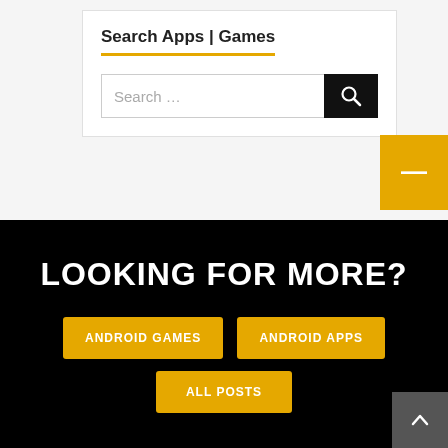Search Apps | Games
[Figure (screenshot): Search input field with placeholder text 'Search ...' and a black search button with magnifying glass icon]
LOOKING FOR MORE?
ANDROID GAMES
ANDROID APPS
ALL POSTS